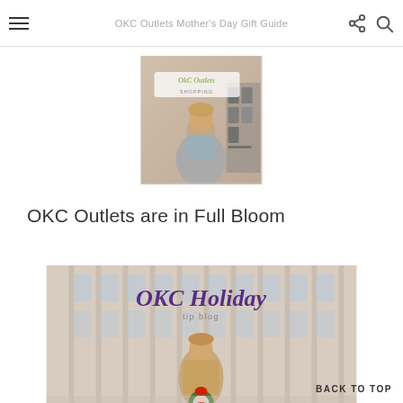OKC Outlets Mother's Day Gift Guide
[Figure (photo): OKC Outlets thumbnail image showing a woman near an Adidas display with 'OKC Outlets' text overlay]
OKC Outlets are in Full Bloom
[Figure (photo): OKC Holiday promotional image with script text reading 'OKC Holiday' and a woman standing in front of a building holding a Christmas wreath]
BACK TO TOP